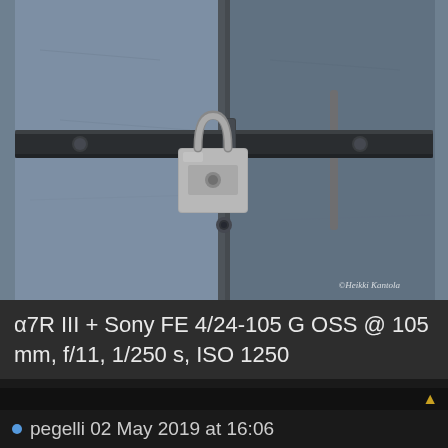[Figure (photo): A close-up photograph of blue-grey metal double doors secured with a padlock and horizontal bar. A silver padlock hangs from the bar in the center. Watermark reads '©Heikki Kantola' in the lower right corner.]
α7R III + Sony FE 4/24-105 G OSS @ 105 mm, f/11, 1/250 s, ISO 1250
pegelli 02 May 2019 at 16:06